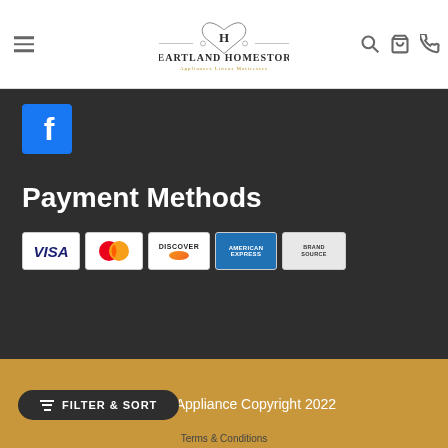Heartland Homestore — Appliances Linens Mattresses
[Figure (logo): Heartland Homestore logo with heart and H emblem, tagline: Appliances Linens Mattresses]
[Figure (logo): Facebook logo icon (blue square with white F)]
Payment Methods
[Figure (other): Payment method logos: VISA, Mastercard, Discover, American Express, Brand Source]
Heartland Appliance Copyright 2022
FILTER & SORT
Terms & Conditions